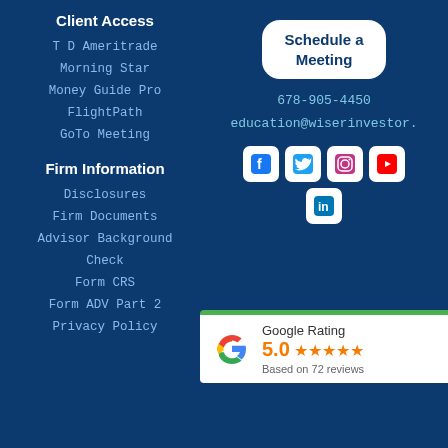Client Access
TD Ameritrade
Morning Star
Money Guide Pro
FlightPath
GoTo Meeting
Firm Information
Disclosures
Firm Documents
Advisor Background Check
Form CRS
Form ADV Part 2
Privacy Policy
[Figure (infographic): Schedule a Meeting button with rounded rectangle white background and dark blue bold text]
678-905-4450
education@wiserinvestor.
[Figure (infographic): Social media icons: Facebook, Twitter, Instagram, YouTube, LinkedIn on white rounded square backgrounds]
[Figure (infographic): Google Rating widget showing 5.0 stars based on 72 reviews with Google G logo and green top border]